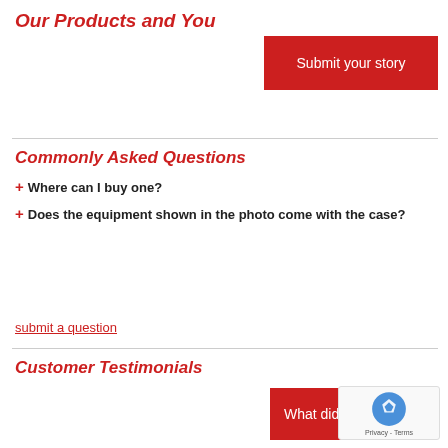Our Products and You
[Figure (other): Red 'Submit your story' button]
Commonly Asked Questions
+ Where can I buy one?
+ Does the equipment shown in the photo come with the case?
submit a question
Customer Testimonials
[Figure (other): Red 'What did yo...' button (partially visible)]
[Figure (other): reCAPTCHA widget with Privacy - Terms text]